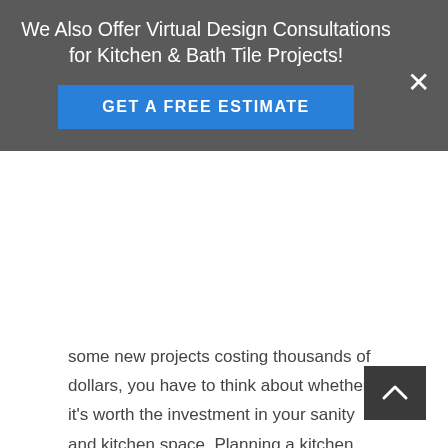We Also Offer Virtual Design Consultations for Kitchen & Bath Tile Projects!
[Figure (other): Blue call-to-action button labeled GET A FREE ESTIMATE with a close (X) button on the right]
some new projects costing thousands of dollars, you have to think about whether it's worth the investment in your sanity and kitchen space. Planning a kitchen can be difficult but when you are investing in something worthwhile, the wait will be worth it. You should consider that remodeling your kitchen will be the most expensive investment in your life. It might be expensive and exhausting but in the end, you'll see that it has changed your life for the better. With a